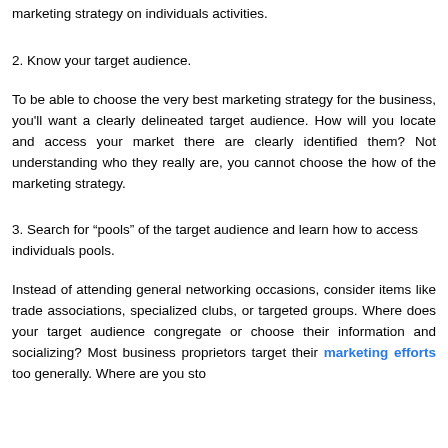marketing strategy on individuals activities.
2. Know your target audience.
To be able to choose the very best marketing strategy for the business, you'll want a clearly delineated target audience. How will you locate and access your market there are clearly identified them? Not understanding who they really are, you cannot choose the how of the marketing strategy.
3. Search for “pools” of the target audience and learn how to access individuals pools.
Instead of attending general networking occasions, consider items like trade associations, specialized clubs, or targeted groups. Where does your target audience congregate or choose their information and socializing? Most business proprietors target their marketing efforts too generally. Where are you sto